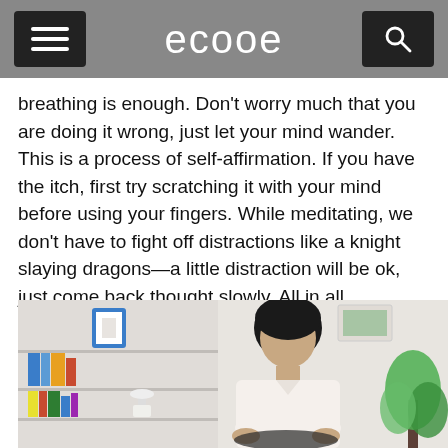ecooe
breathing is enough. Don't worry much that you are doing it wrong, just let your mind wander. This is a process of self-affirmation. If you have the itch, first try scratching it with your mind before using your fingers. While meditating, we don't have to fight off distractions like a knight slaying dragons—a little distraction will be ok, just come back thought slowly. All in all, meditation can inject far-reaching and long-lasting benefits into our lives.
[Figure (photo): A woman meditating in a lotus position in an office setting, sitting cross-legged with eyes closed, wearing a white shirt. Behind her are white bookshelves with books and a blue frame decoration. To the right is a green plant. The background is light and airy.]